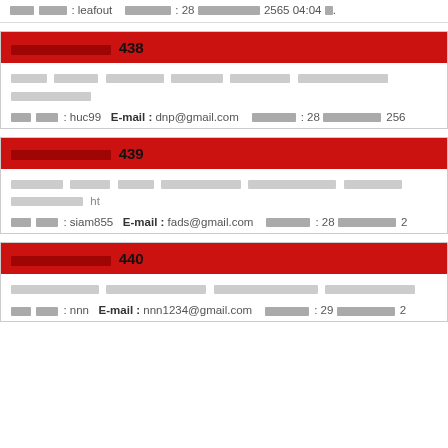ชื่อ : leafout   วันที่โพส : 28 กุมภาพันธ์ 2565 04:04 น.
ความคิดเห็นที่ 438
[Thai content text block]
ชื่อ : huc99   E-mail : dnp@gmail.com   วันที่โพส : 28 กุมภาพันธ์ 256...
ความคิดเห็นที่ 439
[Thai content text block] ht...
ชื่อ : siam855   E-mail : fads@gmail.com   วันที่โพส : 28 กุมภาพันธ์ 2...
ความคิดเห็นที่ 440
[Thai content text block]
ชื่อ : nnn   E-mail : nnn1234@gmail.com   วันที่โพส : 29 กุมภาพันธ์ 2...